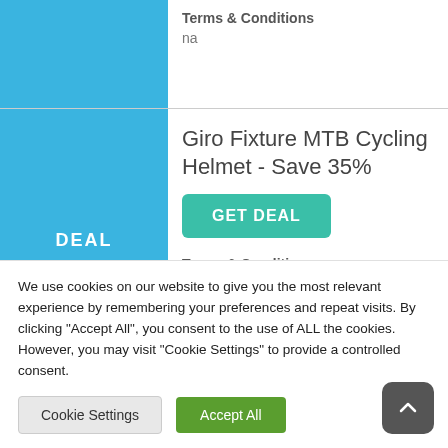Terms & Conditions
na
Giro Fixture MTB Cycling Helmet - Save 35%
GET DEAL
Terms & Conditions
na
Cannondale Trail 7 Ltd
We use cookies on our website to give you the most relevant experience by remembering your preferences and repeat visits. By clicking "Accept All", you consent to the use of ALL the cookies. However, you may visit "Cookie Settings" to provide a controlled consent.
Cookie Settings
Accept All